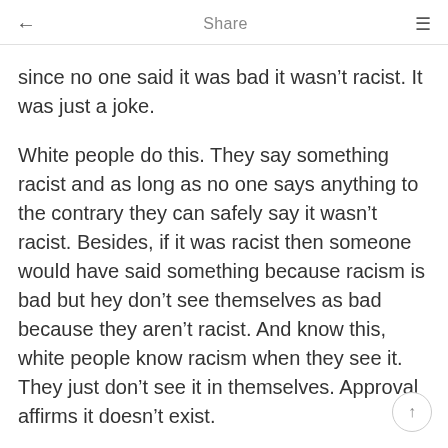← Share ≡
since no one said it was bad it wasn't racist. It was just a joke.
White people do this. They say something racist and as long as no one says anything to the contrary they can safely say it wasn't racist. Besides, if it was racist then someone would have said something because racism is bad but hey don't see themselves as bad because they aren't racist. And know this, white people know racism when they see it. They just don't see it in themselves. Approval affirms it doesn't exist.